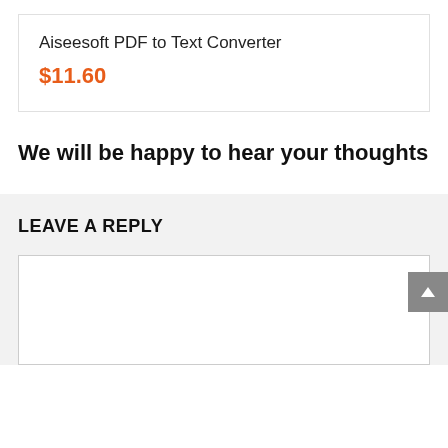Aiseesoft PDF to Text Converter
$11.60
We will be happy to hear your thoughts
LEAVE A REPLY